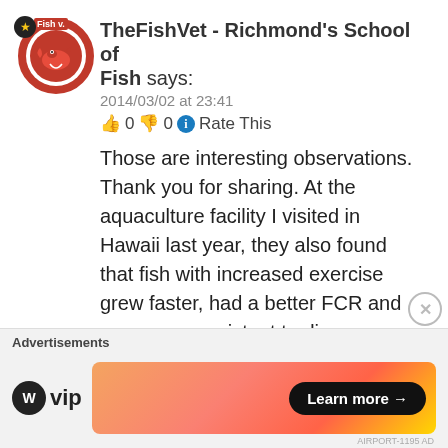[Figure (illustration): Circular avatar icon with a red border featuring a cartoon fish/dragon creature, with a star badge and 'Fish v.' label]
TheFishVet - Richmond's School of Fish says:
2014/03/02 at 23:41
👍 0 👎 0 ℹ Rate This
Those are interesting observations. Thank you for sharing. At the aquaculture facility I visited in Hawaii last year, they also found that fish with increased exercise grew faster, had a better FCR and were more resistant to disease.
★ Like
Reply
Advertisements
[Figure (logo): WordPress VIP logo and an advertisement banner with gradient background and 'Learn more →' button]